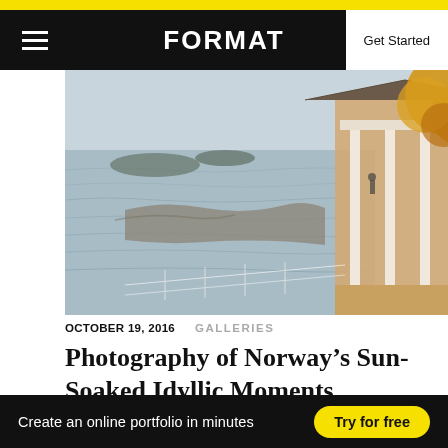FORMAT — Get Started
[Figure (photo): Coastal scene with water, rocky shoreline, and a white cabin/structure with warm golden-hour lighting and yellow autumn foliage on the right]
OCTOBER 19, 2016   GALLERIES
Photography of Norway’s Sun-Soaked Idyllic Moments
[Figure (photo): Aerial or architectural photo showing dark grid-like building facade or rooftop structure (partially visible)]
Create an online portfolio in minutes   Try for free